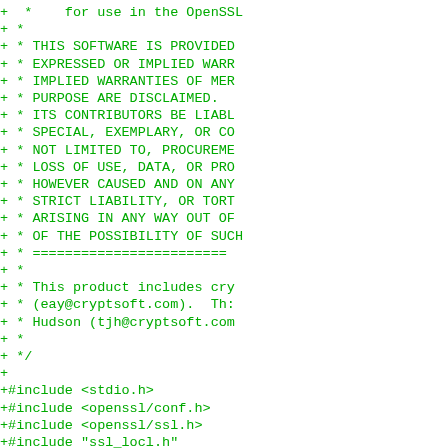Code diff showing OpenSSL license comment and C include directives and struct definition